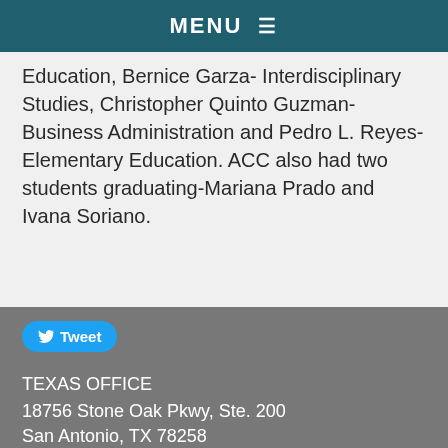MENU ≡
Education, Bernice Garza- Interdisciplinary Studies, Christopher Quinto Guzman- Business Administration and Pedro L. Reyes- Elementary Education. ACC also had two students graduating-Mariana Prado and Ivana Soriano.
[Figure (other): Tweet button with Twitter bird icon]
TEXAS OFFICE
18756 Stone Oak Pkwy, Ste. 200
San Antonio, TX 78258